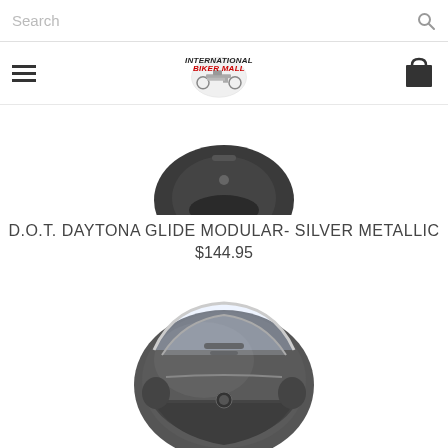Search
[Figure (logo): International Biker Mall logo with motorcycle graphic, bold italic text reading INTERNATIONAL BIKER MALL in black and red]
[Figure (photo): Partial top view of a silver/dark modular motorcycle helmet against white background]
D.O.T. DAYTONA GLIDE MODULAR- SILVER METALLIC
$144.95
[Figure (photo): Silver metallic modular motorcycle helmet with visor open, dark matte finish with silver accents, shown at 3/4 angle]